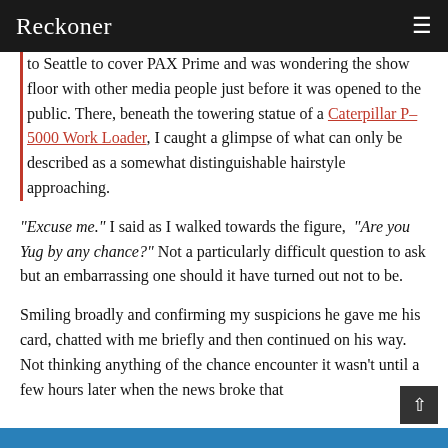Reckoner
to Seattle to cover PAX Prime and was wondering the show floor with other media people just before it was opened to the public. There, beneath the towering statue of a Caterpillar P–5000 Work Loader, I caught a glimpse of what can only be described as a somewhat distinguishable hairstyle approaching.
“Excuse me.” I said as I walked towards the figure, “Are you Yug by any chance?” Not a particularly difficult question to ask but an embarrassing one should it have turned out not to be.
Smiling broadly and confirming my suspicions he gave me his card, chatted with me briefly and then continued on his way. Not thinking anything of the chance encounter it wasn’t until a few hours later when the news broke that